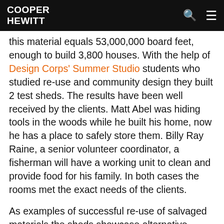COOPER HEWITT
this material equals 53,000,000 board feet, enough to build 3,800 houses. With the help of Design Corps' Summer Studio students who studied re-use and community design they built 2 test sheds. The results have been well received by the clients. Matt Abel was hiding tools in the woods while he built his home, now he has a place to safely store them. Billy Ray Raine, a senior volunteer coordinator, a fisherman will have a working unit to clean and provide food for his family. In both cases the rooms met the exact needs of the clients.
As examples of successful re-use of salvaged materials the sheds showcase alternative solutions to the purchase new materials. The sheds are simple, economical solutions using local materials to solve the immediate and pressing needs for the multitude